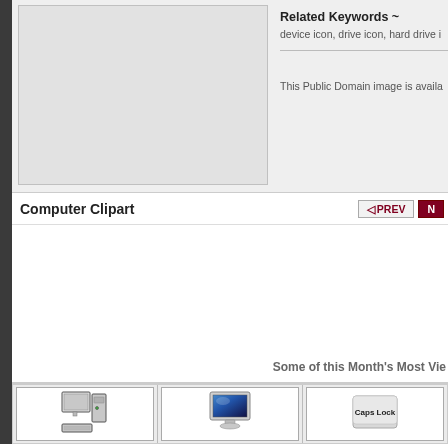Related Keywords ~
device icon, drive icon, hard drive i
This Public Domain image is availa
Computer Clipart
◁ PREV  N
Some of this Month's Most Vie
[Figure (illustration): Clipart of a desktop computer with monitor, tower, and keyboard in grayscale line-art style]
[Figure (illustration): Clipart of a flat-screen monitor with blue screen and white stand]
[Figure (illustration): Partially visible keyboard key labeled Caps Lock in gray 3D style]